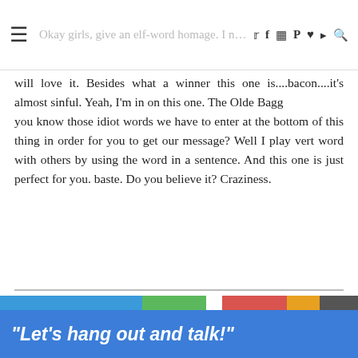≡  [blog title] ♥ ✦ ✦ ✦ ✦ ♪ 🔍
will love it. Besides what a winner this one is....bacon....it's almost sinful. Yeah, I'm in on this one. The Olde Bagg
you know those idiot words we have to enter at the bottom of this thing in order for you to get our message? Well I play vert word with others by using the word in a sentence. And this one is just perfect for you. baste. Do you believe it? Craziness.
Reply
Bo
October 22, 2010 at 12:26 PM
"Let's hang out and talk!"